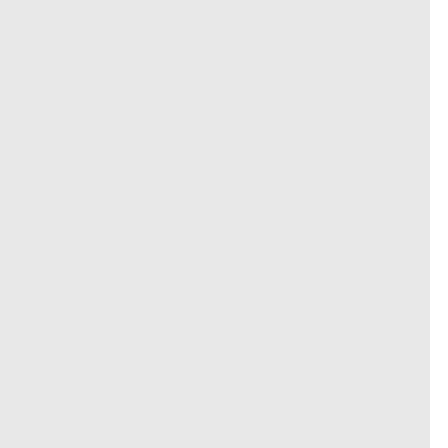y during the research, I put on. Bla